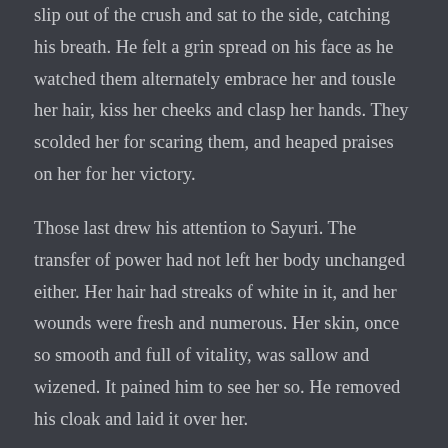slip out of the crush and sat to the side, catching his breath. He felt a grin spread on his face as he watched them alternately embrace her and tousle her hair, kiss her cheeks and clasp her hands. They scolded her for scaring them, and heaped praises on her for her victory.
Those last drew his attention to Sayuri. The transfer of power had not left her body unchanged either. Her hair had streaks of white in it, and her wounds were fresh and numerous. Her skin, once so smooth and full of vitality, was sallow and wizened. It pained him to see her so. He removed his cloak and laid it over her.
“I’m sorry.” Nikkie’s voice at his side nearly startled him, he’d been so focused on Sayuri. “I said cruel things to you and about her. They came from a place of